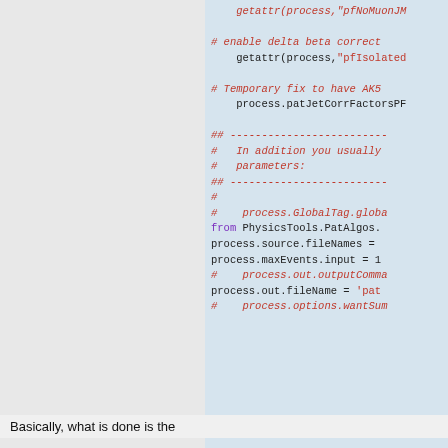[Figure (screenshot): Code block showing Python/CMS configuration script with comments and statements including getattr calls, process.patJetCorrFactorsPF, GlobalTag, source.fileNames, maxEvents, out.fileName, and other process configuration lines. Comments are in italic red, keywords like 'from' in purple, and code in black.]
Basically, what is done is the